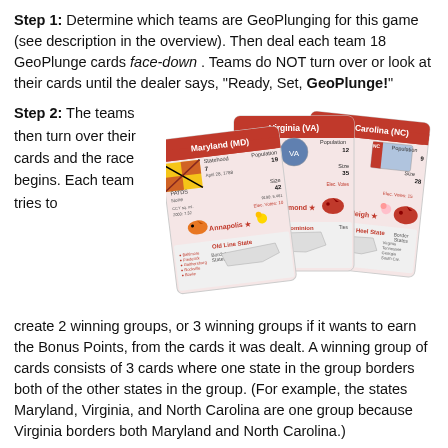Step 1: Determine which teams are GeoPlunging for this game (see description in the overview). Then deal each team 18 GeoPlunge cards face-down . Teams do NOT turn over or look at their cards until the dealer says, “Ready, Set, GeoPlunge!”
Step 2: The teams then turn over their cards and the race begins. Each team tries to create 2 winning groups, or 3 winning groups if it wants to earn the Bonus Points, from the cards it was dealt. A winning group of cards consists of 3 cards where one state in the group borders both of the other states in the group. (For example, the states Maryland, Virginia, and North Carolina are one group because Virginia borders both Maryland and North Carolina.)
[Figure (photo): Three GeoPlunge state cards for Maryland (MD), Virginia (VA), and North Carolina (NC) displayed in a fan arrangement, showing state facts and maps.]